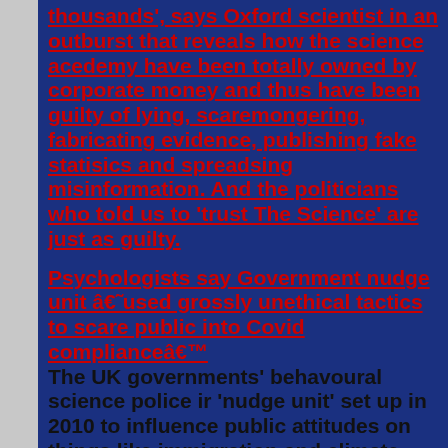thousands', says Oxford scientist in an outburst that reveals how the science acedemy have been totally owned by corporate money and thus have been guilty of lying, scaremongering, fabricating evidence, publishing fake statisics and spreadsing misinformation. And the politicians who told us to 'trust The Science' are just as guilty.
Psychologists say Government nudge unit â€˜used grossly unethical tactics to scare public into Covid complianceâ€™
The UK governments' behavoural science police ir 'nudge unit' set up in 2010 to influence public attitudes on things like immigration and climate change...